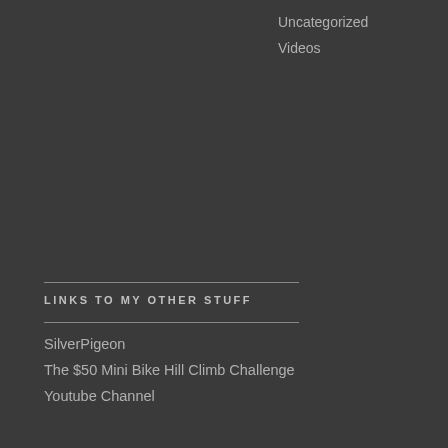Uncategorized
Videos
LINKS TO MY OTHER STUFF
SilverPigeon
The $50 Mini Bike Hill Climb Challenge
Youtube Channel
NIFTY LINKS
F.A.T.
Retro thing
The Plug